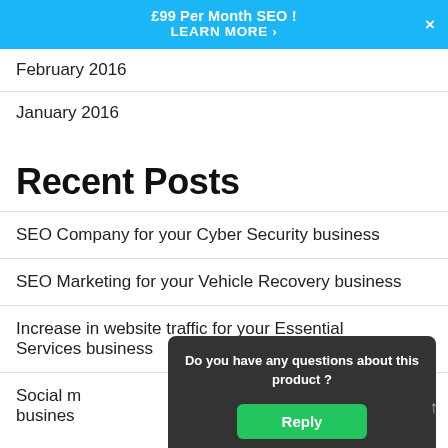£99 Per Month SEO ! LEARN MORE ›
February 2016
January 2016
Recent Posts
SEO Company for your Cyber Security business
SEO Marketing for your Vehicle Recovery business
Increase in website traffic for your Essential Services business
Social m... business
Do you have any questions about this product ?